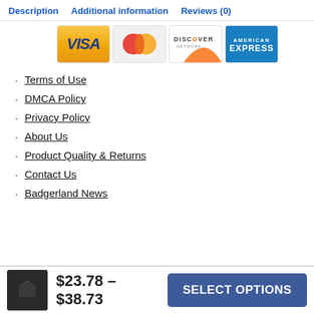Description   Additional information   Reviews (0)
[Figure (illustration): Payment method logos: Visa, MasterCard, Discover Network, American Express credit card icons displayed in a row]
Terms of Use
DMCA Policy
Privacy Policy
About Us
Product Quality & Returns
Contact Us
Badgerland News
$23.78 – $38.73   SELECT OPTIONS